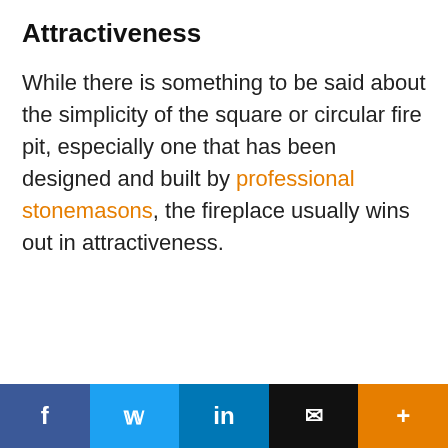Attractiveness
While there is something to be said about the simplicity of the square or circular fire pit, especially one that has been designed and built by professional stonemasons, the fireplace usually wins out in attractiveness.
f  Twitter  in  email  +